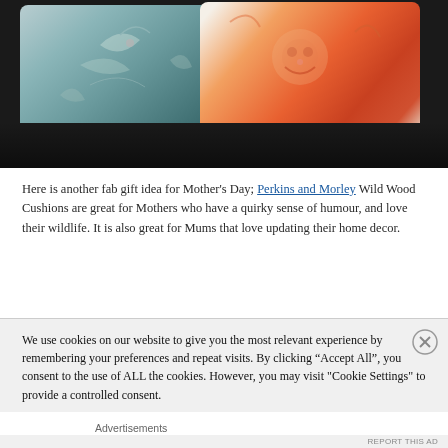[Figure (photo): Two decorative cushions on a dark leather sofa. The left cushion is teal/grey with a bird and botanical motif. The right cushion is orange/red with a floral cat motif.]
Here is another fab gift idea for Mother's Day; Perkins and Morley Wild Wood Cushions are great for Mothers who have a quirky sense of humour, and love their wildlife. It is also great for Mums that love updating their home decor.
We use cookies on our website to give you the most relevant experience by remembering your preferences and repeat visits. By clicking “Accept All”, you consent to the use of ALL the cookies. However, you may visit "Cookie Settings" to provide a controlled consent.